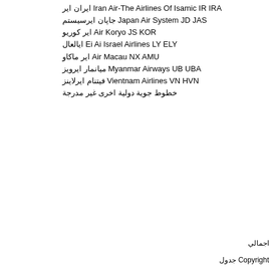ايران اير Iran Air-The Airlines Of Isamic IR IRA
جاپان ايرسيستم Japan Air System JD JAS
اير كوريو Air Koryo JS KOR
ايالعال Ei Ai Israel Airlines LY ELY
اير ماكاو Air Macau NX AMU
ميانمار ايرويز Myanmar Airways UB UBA
فيتنام ايرلاينز Vientnam Airlines VN HVN
خطوط جوية دولية اخرى غير مدرجة
اجمالي
جدول Copyright